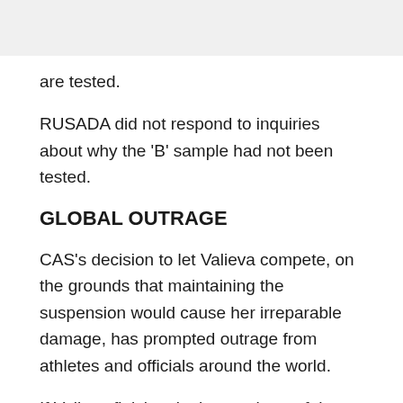are tested.
RUSADA did not respond to inquiries about why the 'B' sample had not been tested.
GLOBAL OUTRAGE
CAS's decision to let Valieva compete, on the grounds that maintaining the suspension would cause her irreparable damage, has prompted outrage from athletes and officials around the world.
If Valieva finishes in the top three of the women's single event, which starts at about 6 p.m. on Tuesday with the short programme and ends with the free